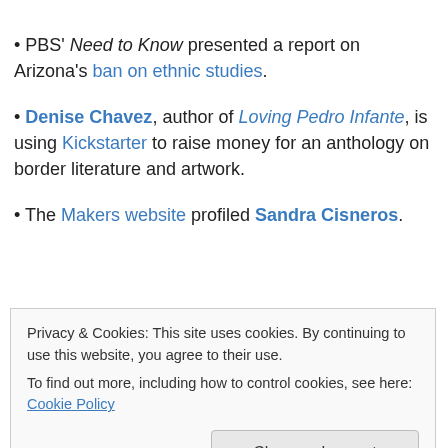• PBS' Need to Know presented a report on Arizona's ban on ethnic studies.
• Denise Chavez, author of Loving Pedro Infante, is using Kickstarter to raise money for an anthology on border literature and artwork.
• The Makers website profiled Sandra Cisneros.
Privacy & Cookies: This site uses cookies. By continuing to use this website, you agree to their use.
To find out more, including how to control cookies, see here: Cookie Policy
Close and accept